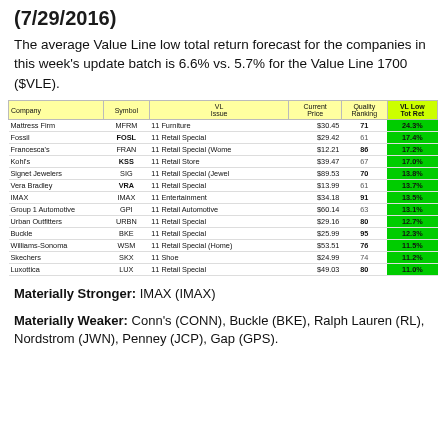(7/29/2016)
The average Value Line low total return forecast for the companies in this week's update batch is 6.6% vs. 5.7% for the Value Line 1700 ($VLE).
| Company | Symbol | VL Issue | Current Price | Quality Ranking | VL Low Tot Ret |
| --- | --- | --- | --- | --- | --- |
| Mattress Firm | MFRM | 11 Furniture | $30.45 | 71 | 24.3% |
| Fossil | FOSL | 11 Retail Special | $29.42 | 61 | 17.4% |
| Francesca's | FRAN | 11 Retail Special (Wome | $12.21 | 86 | 17.2% |
| Kohl's | KSS | 11 Retail Store | $39.47 | 67 | 17.0% |
| Signet Jewelers | SIG | 11 Retail Special (Jewel | $89.53 | 70 | 13.8% |
| Vera Bradley | VRA | 11 Retail Special | $13.99 | 61 | 13.7% |
| IMAX | IMAX | 11 Entertainment | $34.18 | 91 | 13.5% |
| Group 1 Automotive | GPI | 11 Retail Automotive | $60.14 | 63 | 13.1% |
| Urban Outfitters | URBN | 11 Retail Special | $29.16 | 80 | 12.7% |
| Buckle | BKE | 11 Retail Special | $25.99 | 95 | 12.3% |
| Williams-Sonoma | WSM | 11 Retail Special (Home) | $53.51 | 76 | 11.5% |
| Skechers | SKX | 11 Shoe | $24.99 | 74 | 11.2% |
| Luxottica | LUX | 11 Retail Special | $49.03 | 80 | 11.0% |
Materially Stronger: IMAX (IMAX)
Materially Weaker: Conn's (CONN), Buckle (BKE), Ralph Lauren (RL), Nordstrom (JWN), Penney (JCP), Gap (GPS).